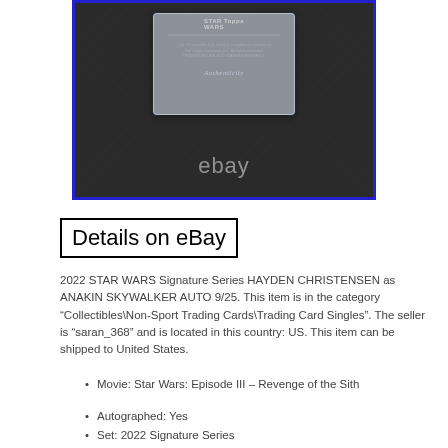[Figure (photo): A Star Wars Topps trading card in a clear plastic card holder/case, photographed on a dark textured background with an eBay watermark.]
Details on eBay
2022 STAR WARS Signature Series HAYDEN CHRISTENSEN as ANAKIN SKYWALKER AUTO 9/25. This item is in the category “Collectibles\Non-Sport Trading Cards\Trading Card Singles”. The seller is “saran_368” and is located in this country: US. This item can be shipped to United States.
Movie: Star Wars: Episode III – Revenge of the Sith
Autographed: Yes
Set: 2022 Signature Series